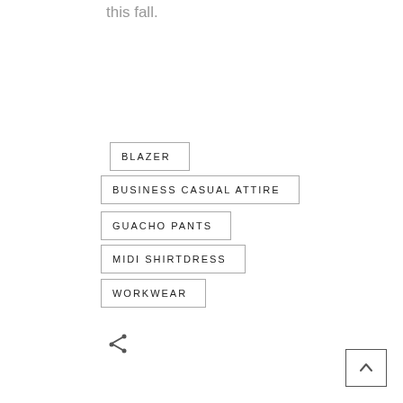this fall.
BLAZER
BUSINESS CASUAL ATTIRE
GUACHO PANTS
MIDI SHIRTDRESS
WORKWEAR
[Figure (other): Share icon (less-than symbol style)]
[Figure (other): Back to top button with upward chevron arrow]